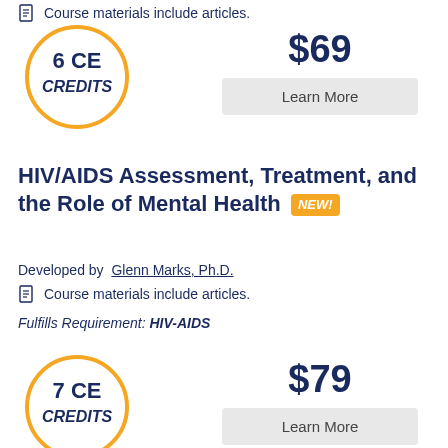Course materials include articles.
[Figure (infographic): Orange circle with '6 CE CREDITS' text inside]
$69
Learn More
HIV/AIDS Assessment, Treatment, and the Role of Mental Health NEW!
Developed by Glenn Marks, Ph.D.
Course materials include articles.
Fulfills Requirement: HIV-AIDS
[Figure (infographic): Orange circle with '7 CE CREDITS' text inside]
$79
Learn More